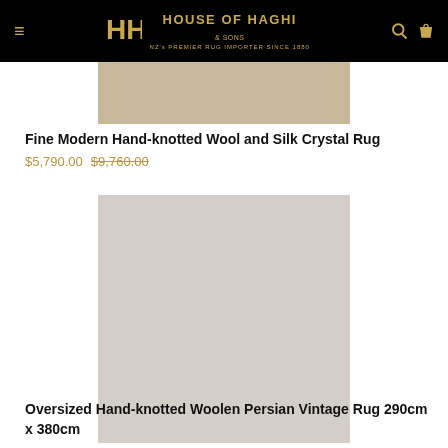House of Haghi — NZ's Premier Rug Importer Since 1880
[Figure (photo): Partial view of a tan/beige rug product image at top of page]
Fine Modern Hand-knotted Wool and Silk Crystal Rug
$5,790.00 $9,760.00
[Figure (photo): Large light grey/beige square placeholder image for Oversized Hand-knotted Woolen Persian Vintage Rug]
Oversized Hand-knotted Woolen Persian Vintage Rug 290cm x 380cm